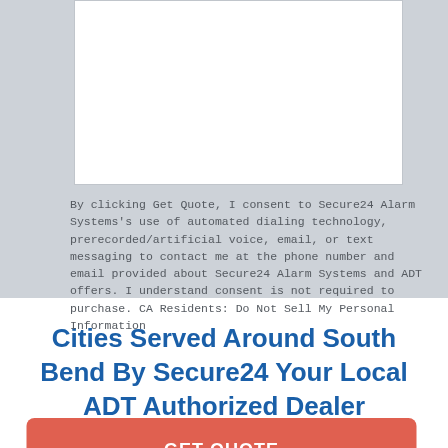[Figure (other): White input form box area on gray background]
By clicking Get Quote, I consent to Secure24 Alarm Systems's use of automated dialing technology, prerecorded/artificial voice, email, or text messaging to contact me at the phone number and email provided about Secure24 Alarm Systems and ADT offers. I understand consent is not required to purchase. CA Residents: Do Not Sell My Personal Information
[Figure (other): Orange GET QUOTE button]
Cities Served Around South Bend By Secure24 Your Local ADT Authorized Dealer